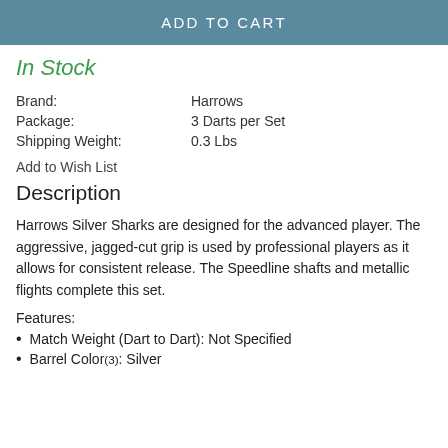ADD TO CART
In Stock
| Brand: | Harrows |
| Package: | 3 Darts per Set |
| Shipping Weight: | 0.3 Lbs |
Add to Wish List
Description
Harrows Silver Sharks are designed for the advanced player. The aggressive, jagged-cut grip is used by professional players as it allows for consistent release.  The Speedline shafts and metallic flights complete this set.
Features:
Match Weight (Dart to Dart): Not Specified
Barrel Color (3): Silver